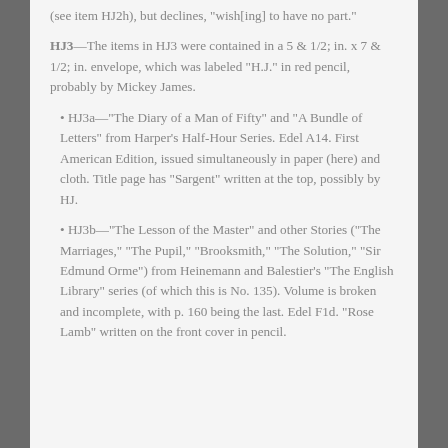(see item HJ2h), but declines, "wish[ing] to have no part."
HJ3—The items in HJ3 were contained in a 5 & 1/2; in. x 7 & 1/2; in. envelope, which was labeled "H.J." in red pencil, probably by Mickey James.
HJ3a—"The Diary of a Man of Fifty" and "A Bundle of Letters" from Harper's Half-Hour Series.  Edel A14.  First American Edition, issued simultaneously in paper (here) and cloth.  Title page has "Sargent" written at the top, possibly by HJ.
HJ3b—"The Lesson of the Master" and other Stories ("The Marriages," "The Pupil," "Brooksmith," "The Solution," "Sir Edmund Orme") from Heinemann and Balestier's "The English Library" series (of which this is No. 135).  Volume is broken and incomplete, with p. 160 being the last.  Edel F1d.  "Rose Lamb" written on the front cover in pencil.